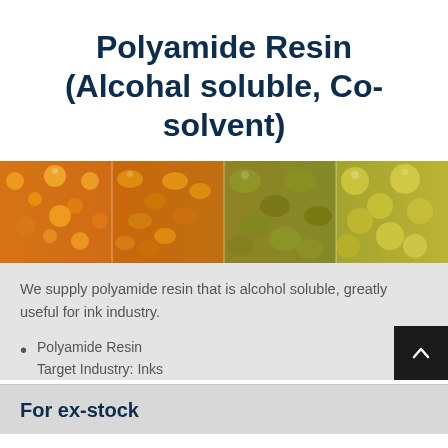Polyamide Resin (Alcohal soluble, Co-solvent)
[Figure (photo): Four panels showing polyamide resin granules and pellets in various amber, orange, and olive-green colors]
We supply polyamide resin that is alcohol soluble, greatly useful for ink industry.
Polyamide Resin
Target Industry: Inks
For ex-stock